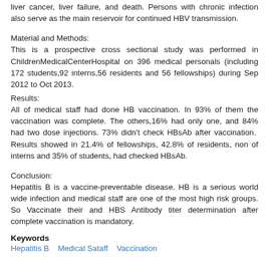liver cancer, liver failure, and death. Persons with chronic infection also serve as the main reservoir for continued HBV transmission.
Material and Methods:
This is a prospective cross sectional study was performed in ChildrenMedicalCenterHospital on 396 medical personals (including 172 students,92 interns,56 residents and 56 fellowships) during Sep 2012 to Oct 2013.
Results:
All of medical staff had done HB vaccination. In 93% of them the vaccination was complete. The others,16% had only one, and 84% had two dose injections. 73% didn't check HBsAb after vaccination. Results showed in 21.4% of fellowships, 42.8% of residents, non of interns and 35% of students, had checked HBsAb.
Conclusion:
Hepatitis B is a vaccine-preventable disease. HB is a serious world wide infection and medical staff are one of the most high risk groups. So Vaccinate their and HBS Antibody titer determination after complete vaccination is mandatory.
Keywords
Hepatitis B   Medical Sataff   Vaccination